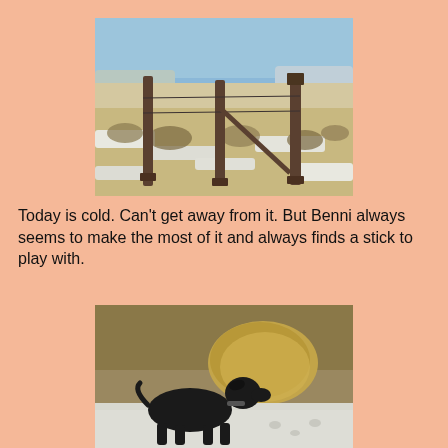[Figure (photo): Outdoor winter scene showing wooden fence posts in a snowy, scrubby prairie landscape under a blue sky with distant mountains.]
Today is cold. Can't get away from it. But Benni always seems to make the most of it and always finds a stick to play with.
[Figure (photo): A black dog standing in a snowy field, sniffing or chewing on a large dried tumbleweed or bush.]